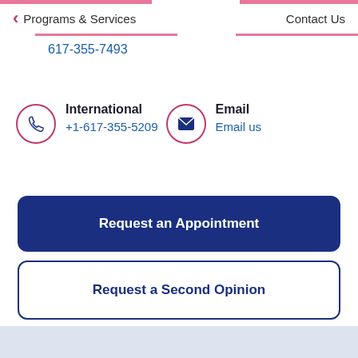Programs & Services
Contact Us
617-355-7493
International
+1-617-355-5209
Email
Email us
Request an Appointment
Request a Second Opinion